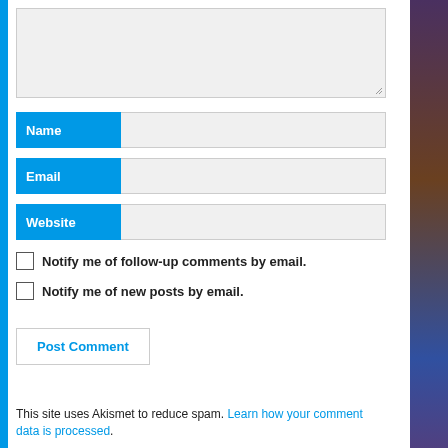[Figure (screenshot): Comment form with Name, Email, Website fields and checkboxes for notifications]
Notify me of follow-up comments by email.
Notify me of new posts by email.
Post Comment
This site uses Akismet to reduce spam. Learn how your comment data is processed.